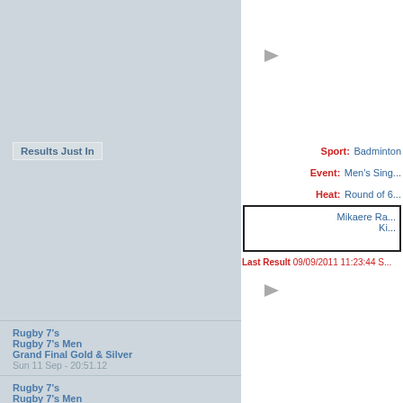Results Just In
Rugby 7's
Rugby 7's Men
Grand Final Gold & Silver
Sun 11 Sep - 20:51.12
Rugby 7's
Rugby 7's Men
Bronze Medal Match
Sun 11 Sep - 20:18:25
Swimming
Men's 4 x 200m Freestyle Relay Final
Sun 11 Sep - 20:05:12
Rugby 7's
Rugby 7's Men
Grand Final Plate
Sun 11 Sep - 19:56:31
Swimming
Women's 4 x 100m Medley Relay Final
Sun 11 Sep - 19:46:26
[Figure (infographic): Flag icon for Badminton event 1]
Sport: Badminton
Event: Men's Singles
Heat: Round of 6
Mikaere Ra...
Ki...
Last Result 09/09/2011 11:23:44 S...
[Figure (infographic): Flag icon for Badminton event 2]
Sport: Badminton
Event: Men's Doubles
Heat: Round of 1...
McCarthy R - Wolfend...
Eng...
Last Result 09/09/2011 17:32:59 S...
[Figure (infographic): Flag icon for third event]